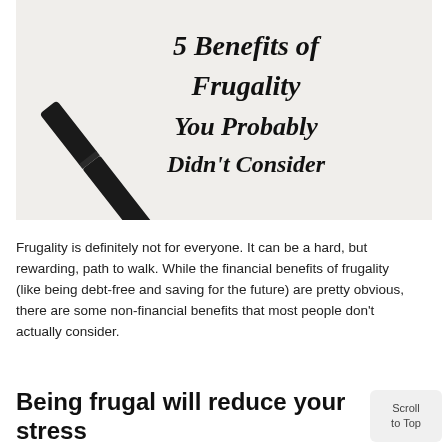[Figure (photo): Photo of a black marker pen lying on white paper, with handwritten-style italic text reading '5 Benefits of Frugality You Probably Didn't Consider']
Frugality is definitely not for everyone. It can be a hard, but rewarding, path to walk. While the financial benefits of frugality (like being debt-free and saving for the future) are pretty obvious, there are some non-financial benefits that most people don't actually consider.
Being frugal will reduce your stress